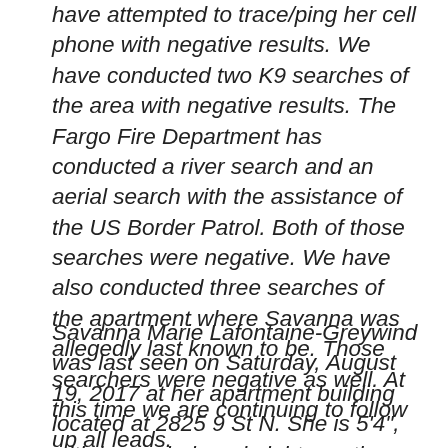have attempted to trace/ping her cell phone with negative results. We have conducted two K9 searches of the area with negative results. The Fargo Fire Department has conducted a river search and an aerial search with the assistance of the US Border Patrol. Both of those searches were negative. We have also conducted three searches of the apartment where Savanna was allegedly last known to be. Those searchers were negative as well. At this time we are continuing to follow up all leads.
Savanna Marie Lafontaine-Greywind was last seen on Saturday, August 19, 2017 at her apartment building located at 2825 9 St N. She is 5'4", with brown hair and eight months pregnant. She was reportedly last seen wearing a pink shirt, dark spandex style shorts and white...